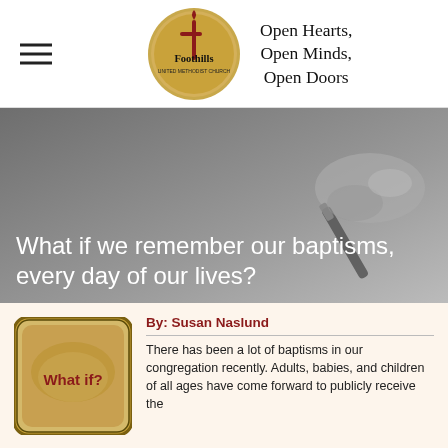[Figure (logo): Foothills United Methodist Church circular logo with golden background and cross symbol]
Open Hearts,
Open Minds,
Open Doors
[Figure (photo): Black and white photo of a hand holding a pen, writing]
What if we remember our baptisms, every day of our lives?
[Figure (illustration): Thumbnail image with sepia tone and text 'What if?' in bold red]
By: Susan Naslund
There has been a lot of baptisms in our congregation recently. Adults, babies, and children of all ages have come forward to publicly receive the